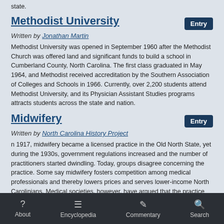state.
Methodist University
Written by Jonathan Martin
Methodist University was opened in September 1960 after the Methodist Church was offered land and significant funds to build a school in Cumberland County, North Carolina. The first class graduated in May 1964, and Methodist received accreditation by the Southern Association of Colleges and Schools in 1966. Currently, over 2,200 students attend Methodist University, and its Physician Assistant Studies programs attracts students across the state and nation.
Midwifery
Written by North Carolina History Project
n 1917, midwifery became a licensed practice in the Old North State, yet during the 1930s, government regulations increased and the number of practitioners started dwindling. Today, groups disagree concerning the practice.  Some say midwifery fosters competition among medical professionals and thereby lowers prices and serves lower-income North Carolinians.  Medical societies, however, have argued that the practice needs professional supervision and regulation.
Miller, William (1783-1825)
About  Encyclopedia  Commentary  Search